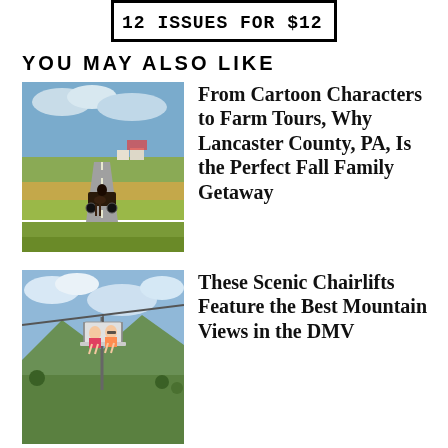[Figure (other): Banner/logo partially visible at top: rectangular border with bold monospaced text showing '12 ISSUES FOR $12']
YOU MAY ALSO LIKE
[Figure (photo): Horse-drawn buggy on a rural road with farmland and buildings in the background, Lancaster County PA countryside]
From Cartoon Characters to Farm Tours, Why Lancaster County, PA, Is the Perfect Fall Family Getaway
[Figure (photo): Two people riding a scenic chairlift above green mountain slopes with blue sky and clouds]
These Scenic Chairlifts Feature the Best Mountain Views in the DMV